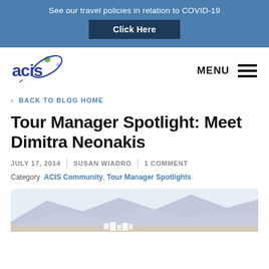See our travel policies in relation to COVID-19 | Click Here
[Figure (logo): ACIS logo with orbital arc and green dot]
MENU
< BACK TO BLOG HOME
Tour Manager Spotlight: Meet Dimitra Neonakis
JULY 17, 2014 | SUSAN WIADRO | 1 COMMENT
Category  ACIS Community, Tour Manager Spotlights
[Figure (photo): Mountain landscape with buildings at bottom, hazy purple/blue hills]